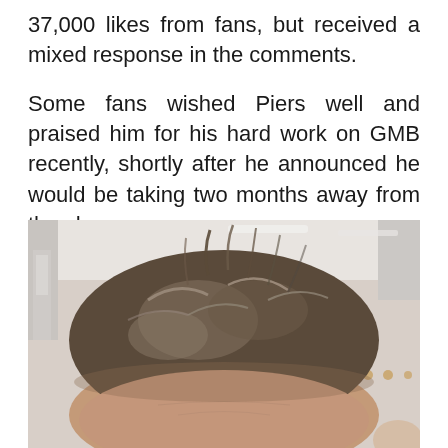37,000 likes from fans, but received a mixed response in the comments.
Some fans wished Piers well and praised him for his hard work on GMB recently, shortly after he announced he would be taking two months away from the show.
[Figure (photo): Close-up selfie photo of a man with tousled brown-grey hair taken from above in what appears to be an airplane cabin interior]